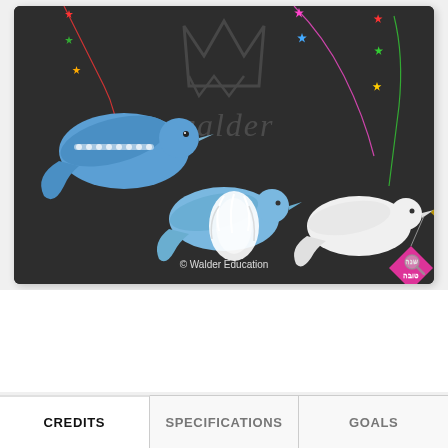[Figure (photo): A dark gray background photo showing decorative dove craft projects for education. Three paper/foam dove shapes are visible: a larger blue dove with sequins on the left, a plain blue dove cutout in the center-left, and a white dove on the right holding a pink diamond-shaped tag with Hebrew text. Colorful star-shaped metallic garlands hang from strings. A white fluffy feather ornament is visible in the center. A faint Walder Education watermark (crown logo and italic text) is overlaid. Copyright text '© Walder Education' appears at the bottom center of the photo.]
CREDITS
SPECIFICATIONS
GOALS